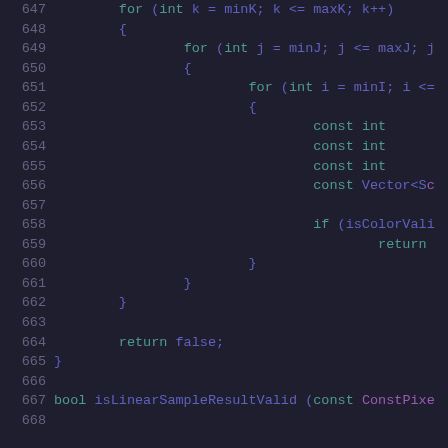[Figure (screenshot): Source code listing showing lines 647-668 of a C++ file. Dark background IDE theme. Code shows nested for loops with variables k, j, i over ranges minK/maxK, minJ/maxJ, minI/maxI, const int and const Vector declarations, an isColorVali check with return statement, closing braces, return false, closing brace, and start of bool isLinearSampleResultValid function with const ConstPixe parameter.]